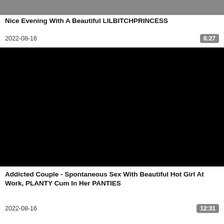[Figure (photo): Partial video thumbnail showing cropped image at top of page]
Nice Evening With A Beautiful LILBITCHPRINCESS
2022-08-16    6:27
[Figure (photo): Black video thumbnail for second video listing]
Addicted Couple - Spontaneous Sex With Beautiful Hot Girl At Work, PLANTY Cum In Her PANTIES
2022-08-16    12:31